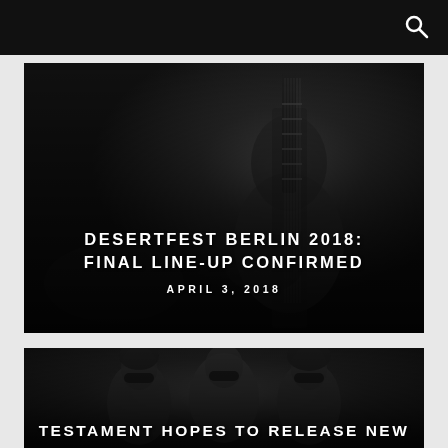[Figure (photo): Black and white photo of a guitarist performing live on stage, playing a Gibson Les Paul guitar in dark lighting. Overlaid with article title and date.]
DESERTFEST BERLIN 2018: FINAL LINE-UP CONFIRMED
APRIL 3, 2018
[Figure (photo): Black and white photo of three musicians / band members wearing sunglasses, partially visible. Article title overlaid at bottom.]
TESTAMENT HOPES TO RELEASE NEW